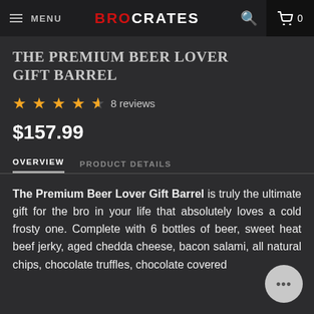MENU | BROCRATES | Search | Cart 0
THE PREMIUM BEER LOVER GIFT BARREL
★★★★★ 8 reviews
$157.99
OVERVIEW   PRODUCT DETAILS
The Premium Beer Lover Gift Barrel is truly the ultimate gift for the bro in your life that absolutely loves a cold frosty one. Complete with 6 bottles of beer, sweet heat beef jerky, aged chedda cheese, bacon salami, all natural chips, chocolate truffles, chocolate covered